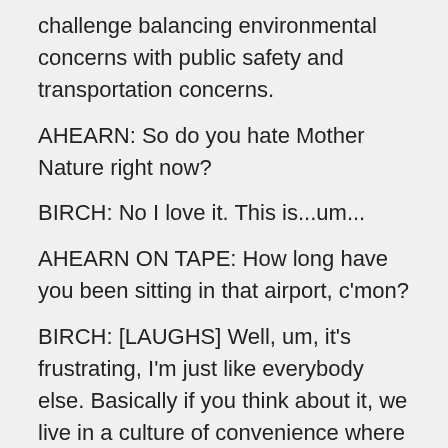challenge balancing environmental concerns with public safety and transportation concerns.
AHEARN: So do you hate Mother Nature right now?
BIRCH: No I love it. This is...um...
AHEARN ON TAPE: How long have you been sitting in that airport, c'mon?
BIRCH: [LAUGHS] Well, um, it's frustrating, I'm just like everybody else. Basically if you think about it, we live in a culture of convenience where we want to be able to go about our daily lives and be able to do anything we want to do even if it snowed eight inches outside.
AHEARN: As Birch said, snow removal is a critical public safety issue. Over 115,000 accidents happened under winter driving conditions in 2006. However, a growing number of scientists, like Chris Swan, are highlighting the